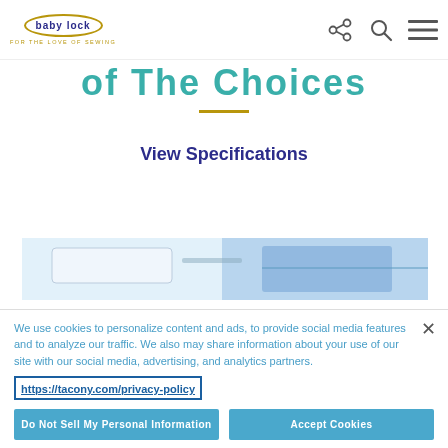baby lock — FOR THE LOVE OF SEWING [with share, search, and menu icons]
of The Choices
View Specifications
[Figure (photo): Partial view of a sewing machine or accessory, light blue tones]
We use cookies to personalize content and ads, to provide social media features and to analyze our traffic. We also may share information about your use of our site with our social media, advertising, and analytics partners.
https://tacony.com/privacy-policy
Do Not Sell My Personal Information | Accept Cookies